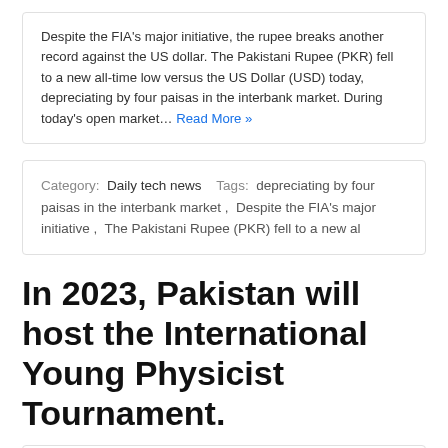Despite the FIA's major initiative, the rupee breaks another record against the US dollar. The Pakistani Rupee (PKR) fell to a new all-time low versus the US Dollar (USD) today, depreciating by four paisas in the interbank market. During today's open market… Read More »
Category: Daily tech news   Tags: depreciating by four paisas in the interbank market , Despite the FIA's major initiative , The Pakistani Rupee (PKR) fell to a new al
In 2023, Pakistan will host the International Young Physicist Tournament.
In 2023, Pakistan will host the International Young Physicist Tournament. Led by Dr. Farida Tahir, Department of Physics, Islamabad Comsats University, Islamabad Campus and Mr